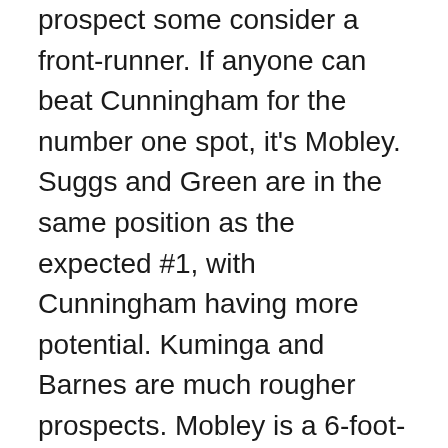prospect some consider a front-runner. If anyone can beat Cunningham for the number one spot, it's Mobley. Suggs and Green are in the same position as the expected #1, with Cunningham having more potential. Kuminga and Barnes are much rougher prospects. Mobley is a 6-foot-2 center, and NBA teams have struggled in the past to select that type of player first. The Cleveland Cavaliers with Darius Garland and Collin Sexton and the Sacramento Kings with Tyrese Haliburton and De'Aaron Fox are two teams Mobley will likely consider if they win the lottery. With the exception of the two teams that have historically failed with high picks (Anthony Bennett, Marvin Bagley III), every other lottery team will likely take the next Luca Doncic.